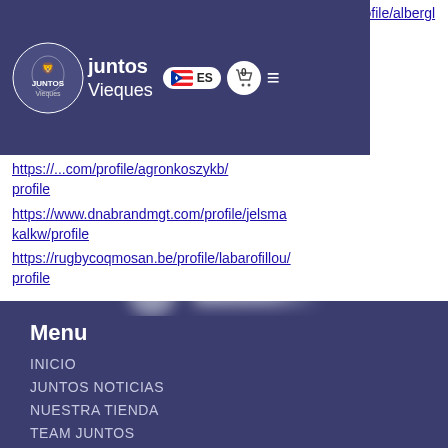[Figure (screenshot): Website navigation bar for Juntos Vieques with logo, Puerto Rico flag language selector showing 'ES', shopping cart icon with '0', and hamburger menu icon on a dark purple/blue background]
https://www.bookdjxl.com/profile/alberglaserz/profile
https://...com/profile/agronkoszykb/profile
https://www.dnabrandmgt.com/profile/jelsmakalkw/profile
https://rugbycoqmosan.be/profile/labarofillou/profile
[Figure (screenshot): Blurred Juntos Vieques logo in footer area on dark purple background]
Menu
INICIO
JUNTOS NOTICIAS
NUESTRA TIENDA
TEAM JUNTOS